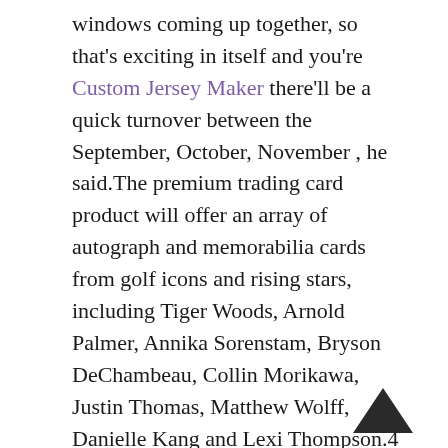windows coming up together, so that's exciting in itself and you're Custom Jersey Maker there'll be a quick turnover between the September, October, November , he said.The premium trading card product will offer an array of autograph and memorabilia cards from golf icons and rising stars, including Tiger Woods, Arnold Palmer, Annika Sorenstam, Bryson DeChambeau, Collin Morikawa, Justin Thomas, Matthew Wolff, Danielle Kang and Lexi Thompson.4 ◆?Super Bowl LIX TBD Feb.Holmes spelled Weatherly for the first four plays of a defensive possession during the second quarter, working a few moves he and Weatherly had discussed during the week.15 Baltimore Ravens at New England Patriots ◆?Nov.Weve got to get back to the drawing board tomorrow, look at our film, have accountability across the board